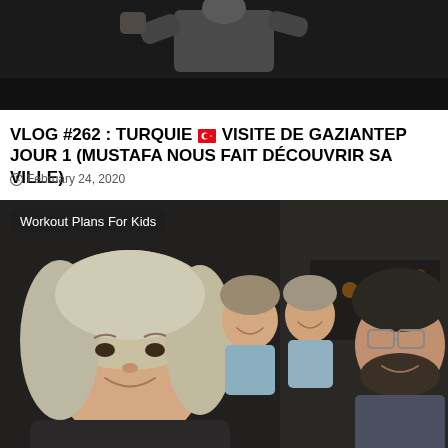[Figure (photo): Top portion of a video thumbnail showing a person in a dark jacket with fist raised, with a black bar at the bottom]
VLOG #262 : TURQUIE 🇹🇷 VISITE DE GAZIANTEP JOUR 1 (MUSTAFA NOUS FAIT DÉCOUVRIR SA VILLE)
February 24, 2020
[Figure (photo): Family selfie inside a vehicle at night. A smiling blonde woman in foreground (left), two young children in the middle back seat, and a man with glasses and beard on the right. Overlay label reads 'Workout Plans For Kids'.]